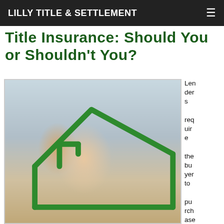LILLY TITLE & SETTLEMENT
Title Insurance: Should You or Shouldn't You?
[Figure (photo): A smiling mother and young child embracing, with a green house outline illustration overlaid on the photo.]
Lenders require the buyer to purchase